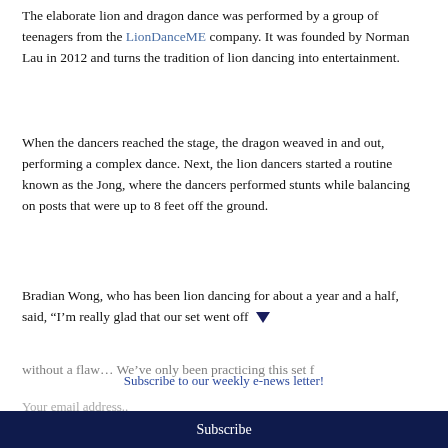The elaborate lion and dragon dance was performed by a group of teenagers from the LionDanceME company. It was founded by Norman Lau in 2012 and turns the tradition of lion dancing into entertainment.
When the dancers reached the stage, the dragon weaved in and out, performing a complex dance. Next, the lion dancers started a routine known as the Jong, where the dancers performed stunts while balancing on posts that were up to 8 feet off the ground.
Bradian Wong, who has been lion dancing for about a year and a half, said, “I’m really glad that our set went off without a flaw… We’ve only been practicing this set for…
Subscribe to our weekly e-news letter!
Your email address..
Subscribe